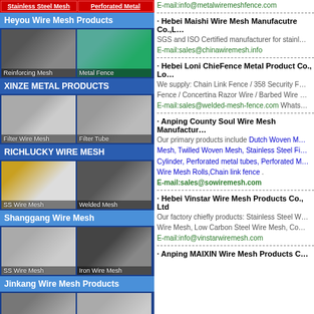[Figure (screenshot): Top bar with Stainless Steel Mesh and Perforated Metal links]
Heyou Wire Mesh Products
[Figure (photo): Two product images: Reinforcing Mesh and Metal Fence]
XINZE METAL PRODUCTS
[Figure (photo): Two product images: Filter Wire Mesh and Filter Tube]
RICHLUCKY WIRE MESH
[Figure (photo): Two product images: SS Wire Mesh and Welded Mesh]
Shanggang Wire Mesh
[Figure (photo): Two product images: SS Wire Mesh and Iron Wire Mesh]
Jinkang Wire Mesh Products
[Figure (photo): Two product images: Filter Elements and Stainless Steel Mesh]
Shengsen Metal Products
[Figure (photo): Two product images at bottom]
E-mail:info@metalwiremeshfence.com
Hebei Maishi Wire Mesh Manufacutre Co.,L...
SGS and ISO Certified manufacturer for stainl...
E-mail:sales@chinawiremesh.info
Hebei Loni ChieFence Metal Product Co., Lo...
We supply: Chain Link Fence / 358 Security F... Fence / Concertina Razor Wire / Barbed Wire...
E-mail:sales@welded-mesh-fence.com Whats...
Anping County Soul Wire Mesh Manufactur...
Our primary products include Dutch Woven M... Mesh, Twilled Woven Mesh, Stainless Steel Fi... Cylinder, Perforated metal tubes, Perforated M... Wire Mesh Rolls,Chain link fence .
E-mail:sales@sowiremesh.com
Hebei Vinstar Wire Mesh Products Co., Ltd
Our factory chiefly products: Stainless Steel W... Wire Mesh, Low Carbon Steel Wire Mesh, Co...
E-mail:info@vinstarwiremesh.com
Anping MAIXIN Wire Mesh Products C...